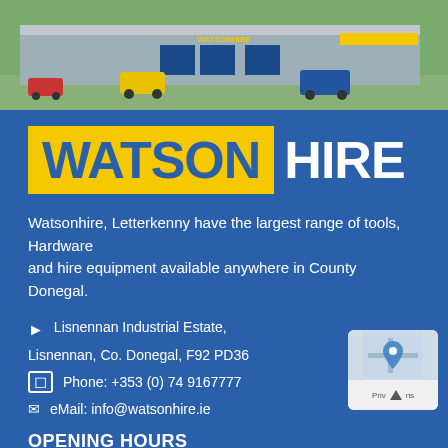[Figure (photo): Aerial/exterior photo of Watson Hire industrial building/warehouse with blue and yellow signage, vehicles parked outside]
WATSON HIRE
Watsonhire, Letterkenny have the largest range of tools, Hardware and hire equipment available anywhere in County Donegal.
Lisnennan Industrial Estate,
Lisnennan, Co. Donegal, F92 PD36
Phone: +353 (0) 74 9167777
eMail: info@watsonhire.ie
OPENING HOURS